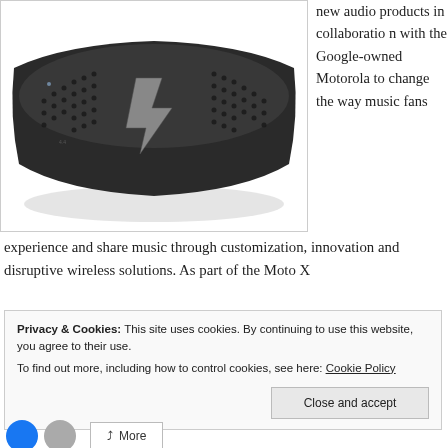[Figure (photo): A black portable Bluetooth speaker with rounded rectangular shape, featuring a lightning bolt logo and dotted speaker grille surface, viewed from above at an angle.]
new audio products in collaboration with the Google-owned Motorola to change the way music fans experience and share music through customization, innovation and disruptive wireless solutions. As part of the Moto X
Privacy & Cookies: This site uses cookies. By continuing to use this website, you agree to their use.
To find out more, including how to control cookies, see here: Cookie Policy
Close and accept